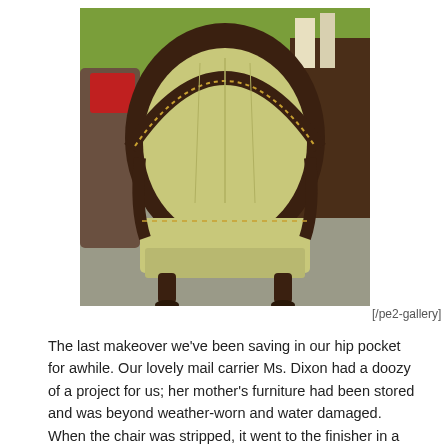[Figure (photo): A vintage barrel-back upholstered armchair with light yellow-green (pear) fabric and dark carved wooden frame with nailhead trim, photographed in what appears to be a furniture store or showroom.]
[/pe2-gallery]
The last makeover we've been saving in our hip pocket for awhile. Our lovely mail carrier Ms. Dixon had a doozy of a project for us; her mother's furniture had been stored and was beyond weather-worn and water damaged. When the chair was stripped, it went to the finisher in a box! Together we took on the challenge and alas, Humpty Dumpty was put back together again. Upholstered in a loop velvet, the chair and sofa did a complete 180! Fabric is Duralee's # 36089 in pear.